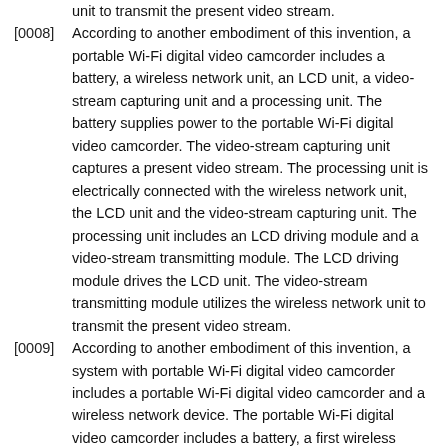unit to transmit the present video stream.
[0008] According to another embodiment of this invention, a portable Wi-Fi digital video camcorder includes a battery, a wireless network unit, an LCD unit, a video-stream capturing unit and a processing unit. The battery supplies power to the portable Wi-Fi digital video camcorder. The video-stream capturing unit captures a present video stream. The processing unit is electrically connected with the wireless network unit, the LCD unit and the video-stream capturing unit. The processing unit includes an LCD driving module and a video-stream transmitting module. The LCD driving module drives the LCD unit. The video-stream transmitting module utilizes the wireless network unit to transmit the present video stream.
[0009] According to another embodiment of this invention, a system with portable Wi-Fi digital video camcorder includes a portable Wi-Fi digital video camcorder and a wireless network device. The portable Wi-Fi digital video camcorder includes a battery, a first wireless network unit, a LCD unit, a video-stream capturing unit and a first